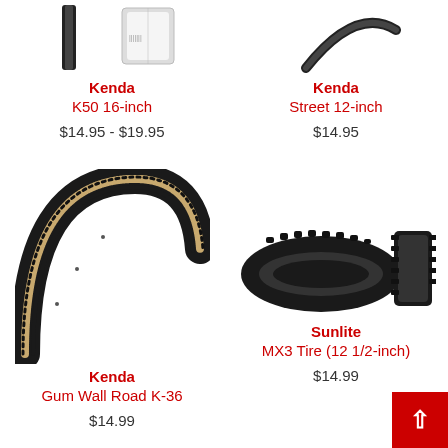[Figure (photo): Kenda K50 16-inch bicycle tire shown from side and top angles, black tire on white background]
Kenda
K50 16-inch
$14.95 - $19.95
[Figure (photo): Kenda Street 12-inch bicycle tire shown from side angle, black tire on white background]
Kenda
Street 12-inch
$14.95
[Figure (photo): Kenda Gum Wall Road K-36 bicycle tire with tan/gum sidewall, shown as large curved tire profile on white background]
Kenda
Gum Wall Road K-36
$14.99
[Figure (photo): Sunlite MX3 Tire 12 1/2-inch bicycle tire, knobby tread, shown from side and end profile on white background]
Sunlite
MX3 Tire (12 1/2-inch)
$14.99